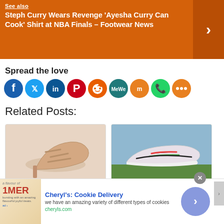See also: Steph Curry Wears Revenge 'Ayesha Curry Can Cook' Shirt at NBA Finals – Footwear News
Spread the love
[Figure (infographic): Social media sharing icons: Facebook, Twitter, LinkedIn, Pinterest, Reddit, MeWe, Mix, WhatsApp, More]
Related Posts:
[Figure (photo): Beige high heel mule sandal shoe]
Earnings & Sales
[Figure (photo): Nike Air Zoom colorful sneaker on grass]
Nike Air Zoom
[Figure (screenshot): Advertisement for Cheryl's Cookie Delivery with cookie image and call-to-action arrow]